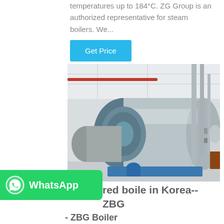temperatures up to 184°C. ZG Group is an authorized representative for steam boilers. We...
Get Price
[Figure (photo): Industrial steam boilers installed in a factory hall in Korea. Large horizontal cylindrical boilers with metallic silver cladding and blue base fittings, pipes running overhead.]
[Figure (logo): WhatsApp green button with phone icon and WhatsApp text]
red boile in Korea--ZBG - ZBG Boiler